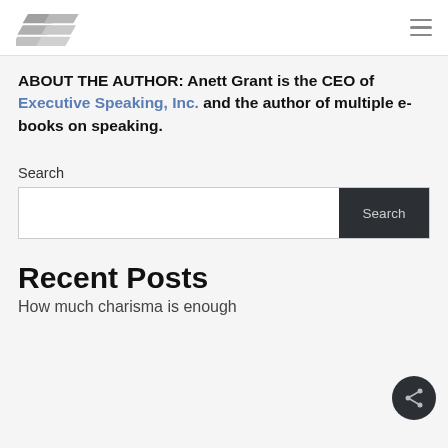Executive Speaking logo and navigation
ABOUT THE AUTHOR: Anett Grant is the CEO of Executive Speaking, Inc. and the author of multiple e-books on speaking.
Search
Recent Posts
How much charisma is enough